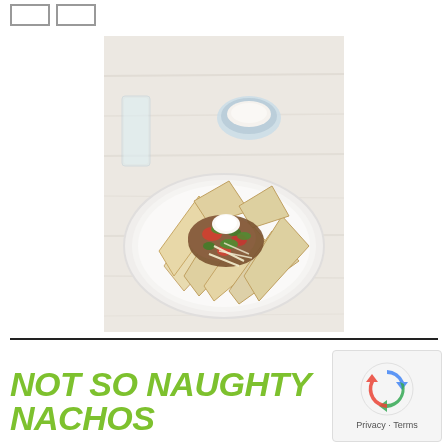[Figure (photo): A plate of nachos topped with meat, tomato, green onion, cheese, and sour cream, with a small bowl of sour cream and a glass of water in the background, on a white wooden surface.]
NOT SO NAUGHTY NACHOS